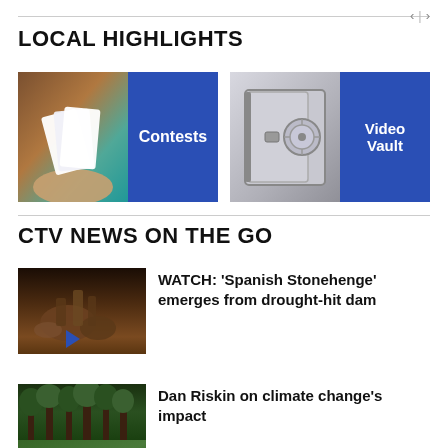LOCAL HIGHLIGHTS
[Figure (photo): Contests banner: hand holding cards with blue label saying Contests]
[Figure (photo): Video Vault banner: open safe image with blue label saying Video Vault]
CTV NEWS ON THE GO
[Figure (photo): Thumbnail of Spanish Stonehenge emerging from drought-hit dam, rocky terrain]
WATCH: 'Spanish Stonehenge' emerges from drought-hit dam
[Figure (photo): Thumbnail of forest trees for Dan Riskin climate change story]
Dan Riskin on climate change's impact